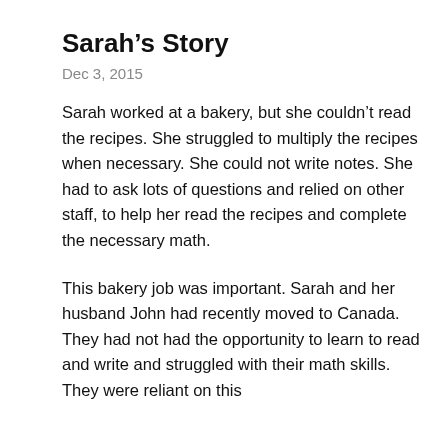Sarah’s Story
Dec 3, 2015
Sarah worked at a bakery, but she couldn’t read the recipes. She struggled to multiply the recipes when necessary. She could not write notes. She had to ask lots of questions and relied on other staff, to help her read the recipes and complete the necessary math.
This bakery job was important. Sarah and her husband John had recently moved to Canada. They had not had the opportunity to learn to read and write and struggled with their math skills. They were reliant on this